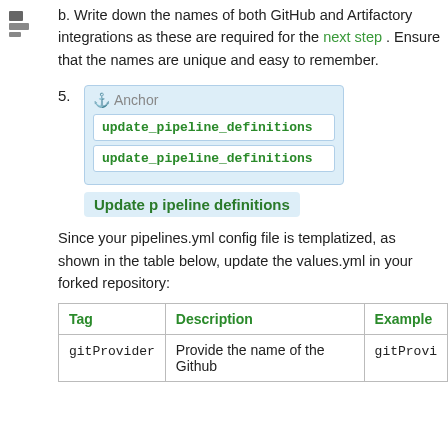[Figure (other): Small tree/folder icon in upper left margin]
b. Write down the names of both GitHub and Artifactory integrations as these are required for the next step . Ensure that the names are unique and easy to remember.
[Figure (other): Anchor UI element box labeled 'Anchor' with two code entries: update_pipeline_definitions listed twice, and a label 'Update pipeline definitions']
Since your pipelines.yml config file is templatized, as shown in the table below, update the values.yml in your forked repository:
| Tag | Description | Example |
| --- | --- | --- |
| gitProvider | Provide the name of the Github | gitProvi |